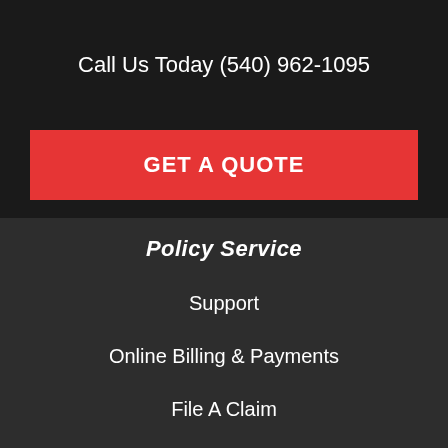Call Us Today (540) 962-1095
GET A QUOTE
Policy Service
Support
Online Billing & Payments
File A Claim
Policy Change Request